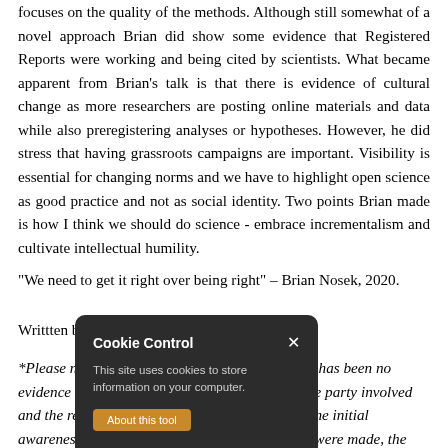focuses on the quality of the methods. Although still somewhat of a novel approach Brian did show some evidence that Registered Reports were working and being cited by scientists. What became apparent from Brian's talk is that there is evidence of cultural change as more researchers are posting online materials and data while also preregistering analyses or hypotheses. However, he did stress that having grassroots campaigns are important. Visibility is essential for changing norms and we have to highlight open science as good practice and not as social identity. Two points Brian made is how I think we should do science - embrace incrementalism and cultivate intellectual humility.
"We need to get it right over being right" – Brian Nosek, 2020.
Writtten by Jacqueline Kuppen
*Please note that at the time of writing this there has been no evidence of intent to falsify data or mislead by the party involved and the relevant investigation is ongoing. Since the initial awareness of the problems surrounding the data were made, the approach taken by journals and collaborators that were
[Figure (other): Cookie Control overlay popup with dark background, showing title 'Cookie Control' with X close button, body text 'This site uses cookies to store information on your computer.', an orange 'About this tool' button, and a dark 'read more' button.]